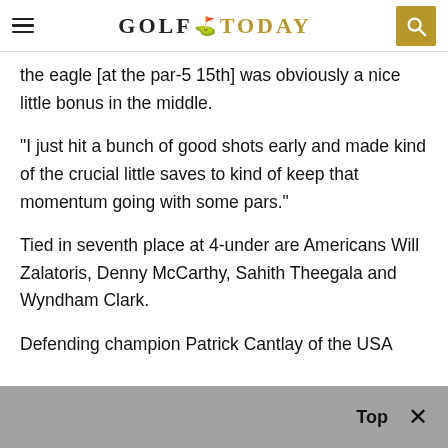GOLF TODAY
the eagle [at the par-5 15th] was obviously a nice little bonus in the middle.
“I just hit a bunch of good shots early and made kind of the crucial little saves to kind of keep that momentum going with some pars.”
Tied in seventh place at 4-under are Americans Will Zalatoris, Denny McCarthy, Sahith Theegala and Wyndham Clark.
Defending champion Patrick Cantlay of the USA